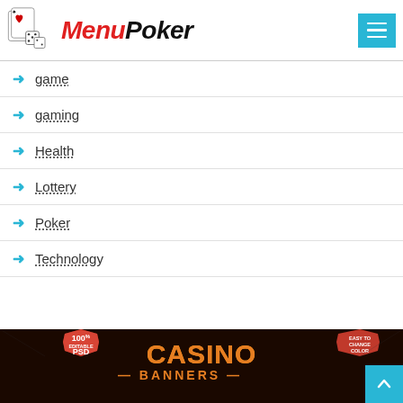Menu Poker
game
gaming
Health
Lottery
Poker
Technology
[Figure (infographic): Casino Banners advertisement banner: orange badge '100% EDITABLE PSD', large gold text 'CASINO BANNERS', partial text 'EASY TO CHANGE COLOR' on dark background]